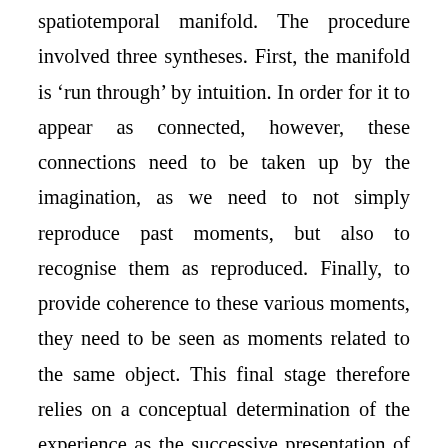spatiotemporal manifold. The procedure involved three syntheses. First, the manifold is 'run through' by intuition. In order for it to appear as connected, however, these connections need to be taken up by the imagination, as we need to not simply reproduce past moments, but also to recognise them as reproduced. Finally, to provide coherence to these various moments, they need to be seen as moments related to the same object. This final stage therefore relies on a conceptual determination of the experience as the successive presentation of the same object. In this sense, succession in the case of time, and co-existence in the case of space are imposed upon time and space, rather than determining them. Kant therefore reverses the order of determination that we found in the previous